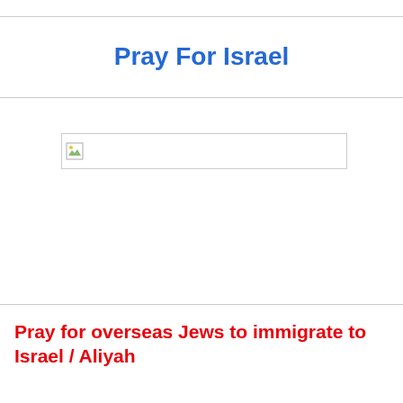Pray For Israel
[Figure (photo): Broken/unloaded image placeholder with small icon in top-left corner]
Pray for overseas Jews to immigrate to Israel / Aliyah